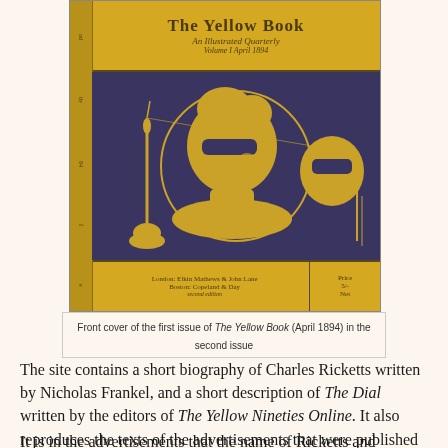[Figure (photo): Front cover of The Yellow Book (April 1894) showing an illustrated quarterly with a woman in a mask against a dark blue background, with publisher information at the bottom. The spine of the book is visible on the left side.]
Front cover of the first issue of The Yellow Book (April 1894) in the second issue
The site contains a short biography of Charles Ricketts written by Nicholas Frankel, and a short description of The Dial written by the editors of The Yellow Nineties Online. It also reproduces the texts of the advertisements that were published at the back of the magazine.
It is in the advertisements that the name of Ricketts and